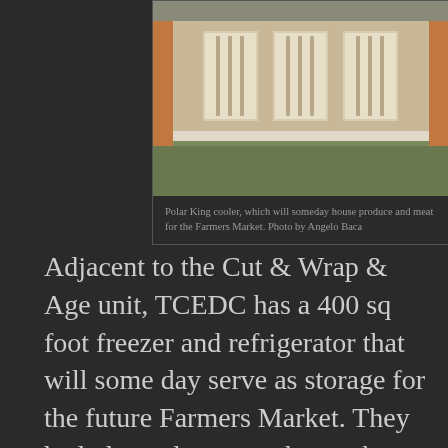[Figure (photo): Exterior photo of a Polar King cooler building with metal doors, set on a grassy area with hills in the background.]
Polar King cooler, which will someday house produce and meat for the Farmers Market. Photo by Angelo Baca
Adjacent to the Cut & Wrap & Age unit, TCEDC has a 400 sq foot freezer and refrigerator that will some day serve as storage for the future Farmers Market. They had planned to open the market last year, but funding has not been available. They currently have an intern, Tiana Suazo (Taos